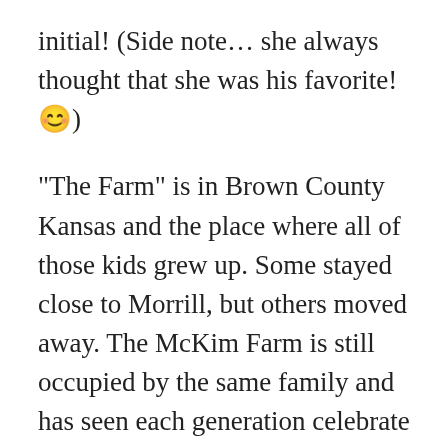initial! (Side note… she always thought that she was his favorite! 😊)
“The Farm” is in Brown County Kansas and the place where all of those kids grew up. Some stayed close to Morrill, but others moved away. The McKim Farm is still occupied by the same family and has seen each generation celebrate the Fourth in true McKim fashion. Coming home to the Farm was the